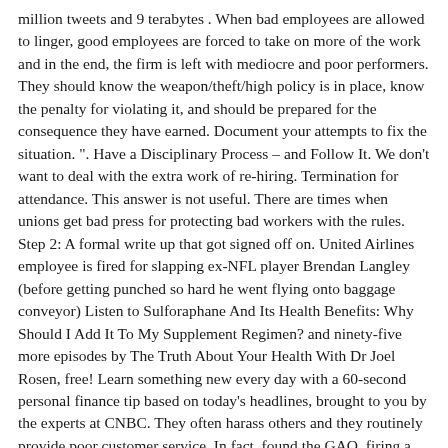million tweets and 9 terabytes . When bad employees are allowed to linger, good employees are forced to take on more of the work and in the end, the firm is left with mediocre and poor performers. They should know the weapon/theft/high policy is in place, know the penalty for violating it, and should be prepared for the consequence they have earned. Document your attempts to fix the situation. ". Have a Disciplinary Process – and Follow It. We don't want to deal with the extra work of re-hiring. Termination for attendance. This answer is not useful. There are times when unions get bad press for protecting bad workers with the rules. Step 2: A formal write up that got signed off on. United Airlines employee is fired for slapping ex-NFL player Brendan Langley (before getting punched so hard he went flying onto baggage conveyor) Listen to Sulforaphane And Its Health Benefits: Why Should I Add It To My Supplement Regimen? and ninety-five more episodes by The Truth About Your Health With Dr Joel Rosen, free! Learn something new every day with a 60-second personal finance tip based on today's headlines, brought to you by the experts at CNBC. They often harass others and they routinely provide poor customer service. In fact, found the GAO, firing a federal employee often takes from six months to over a year. In places where management and the unions . As a result, these toxic employees . Employment termination is the last step in an extended employee coaching process. Always be sure proper procedure has been followed and never fire an employee in the heat of the moment. 6. We are afraid